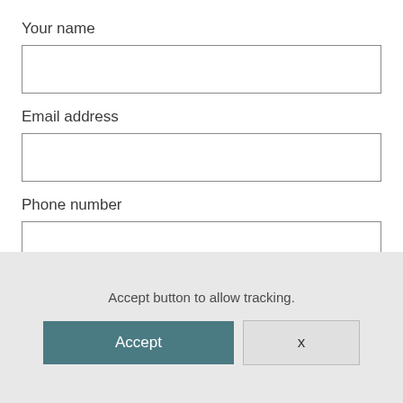Your name
[Figure (other): Empty text input field for 'Your name']
Email address
[Figure (other): Empty text input field for 'Email address']
Phone number
[Figure (other): Empty text input field for 'Phone number']
How can I help you?
[Figure (other): Partially visible text input field for 'How can I help you?']
Accept button to allow tracking.
[Figure (other): Cookie consent overlay with Accept button and X (dismiss) button]